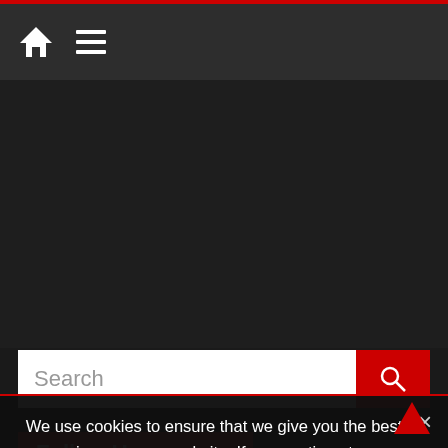[Figure (screenshot): Website navigation bar with dark background, home icon and hamburger menu icon, followed by a large dark content area, a search bar with red search button, a Follow Us section header in red, social media icons (Twitter, RSS, YouTube), and a cookie consent banner overlay]
Search
Follow Us
We use cookies to ensure that we give you the best experience on our website. If you continue to use this site we will assume that you are happy with it.
I understand   Privacy policy